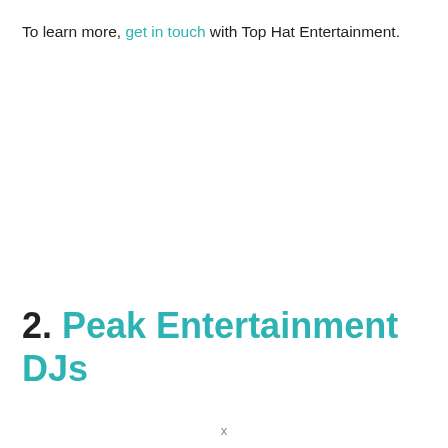To learn more, get in touch with Top Hat Entertainment.
2. Peak Entertainment DJs
x